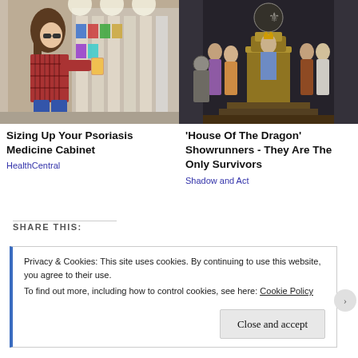[Figure (photo): Woman crouching in a pharmacy/grocery store aisle, examining a product from a shelf, wearing a plaid shirt and jeans.]
Sizing Up Your Psoriasis Medicine Cabinet
HealthCentral
[Figure (photo): Cast of 'House of the Dragon' in fantasy medieval costumes, standing on a throne room set.]
'House Of The Dragon' Showrunners - They Are The Only Survivors
Shadow and Act
SHARE THIS:
Privacy & Cookies: This site uses cookies. By continuing to use this website, you agree to their use.
To find out more, including how to control cookies, see here: Cookie Policy
Close and accept